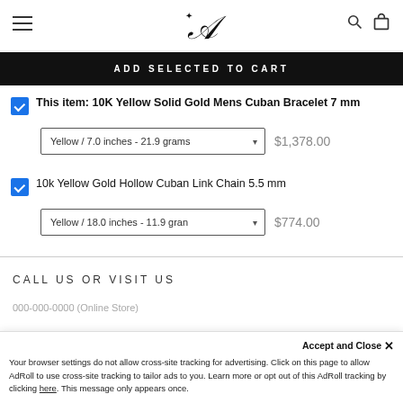Navigation header with logo
ADD SELECTED TO CART
This item: 10K Yellow Solid Gold Mens Cuban Bracelet 7 mm
Yellow / 7.0 inches - 21.9 grams   $1,378.00
10k Yellow Gold Hollow Cuban Link Chain 5.5 mm
Yellow / 18.0 inches - 11.9 gran   $774.00
CALL US OR VISIT US
000-000-0000 (Online Store)
Accept and Close ✕
Your browser settings do not allow cross-site tracking for advertising. Click on this page to allow AdRoll to use cross-site tracking to tailor ads to you. Learn more or opt out of this AdRoll tracking by clicking here. This message only appears once.